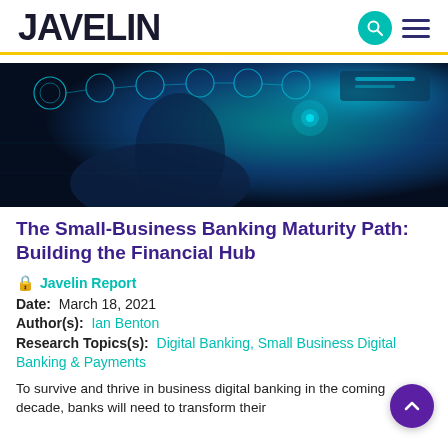JAVELIN
[Figure (photo): Person touching a glowing digital interface with circular UI icons, teal and blue tones, futuristic banking technology concept]
The Small-Business Banking Maturity Path: Building the Financial Hub
🔒 Javelin Report
Date:  March 18, 2021
Author(s):  Ian Benton
Research Topics(s):  Digital Banking, Small Business Digital Banking & Payments
To survive and thrive in business digital banking in the coming decade, banks will need to transform their